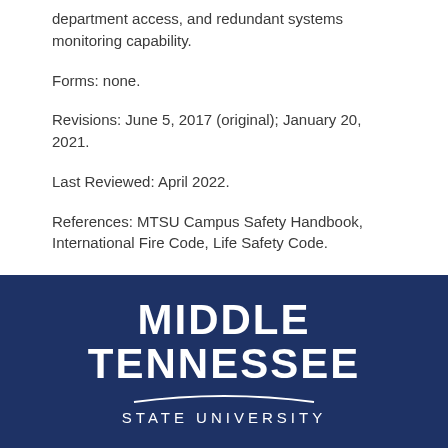department access, and redundant systems monitoring capability.
Forms: none.
Revisions: June 5, 2017 (original); January 20, 2021.
Last Reviewed: April 2022.
References: MTSU Campus Safety Handbook, International Fire Code, Life Safety Code.
[Figure (logo): Middle Tennessee State University logo — white bold text on dark navy blue background reading MIDDLE TENNESSEE with a swoosh line and STATE UNIVERSITY below]